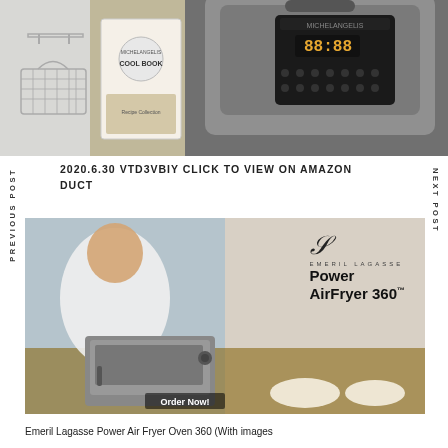[Figure (photo): Product images: wire basket and accessories on left, cookbook in center-left, stainless steel pressure cooker with digital display on right]
2020.6.30 VTD3VBIY CLICK TO VIEW ON AMAZON
DUCT
PREVIOUS POST
NEXT POST
[Figure (photo): Emeril Lagasse Power AirFryer 360 advertisement showing chef Emeril Lagasse in white chef coat leaning on a countertop oven with Order Now button]
Emeril Lagasse Power Air Fryer Oven 360 (With images